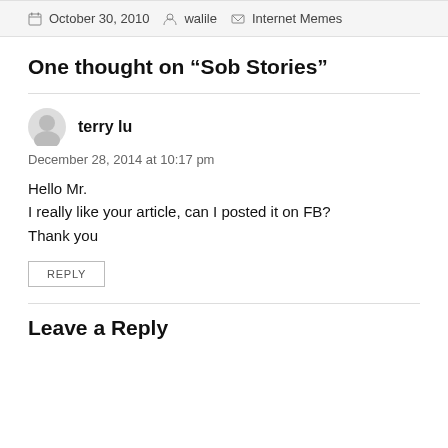October 30, 2010 · walile · Internet Memes
One thought on “Sob Stories”
terry lu
December 28, 2014 at 10:17 pm
Hello Mr.
I really like your article, can I posted it on FB?
Thank you
REPLY
Leave a Reply